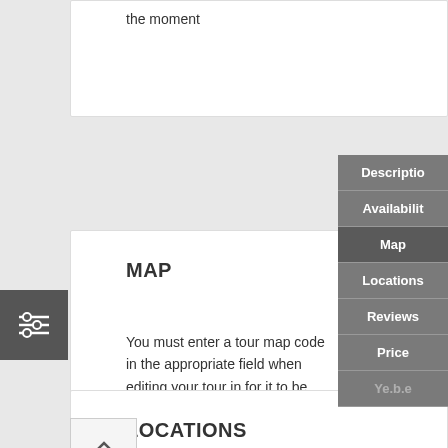the moment
Description
Availability
Map
Locations
Reviews
Price
MAP
You must enter a tour map code in the appropriate field when editing your tour in for it to be displayed here
LOCATIONS